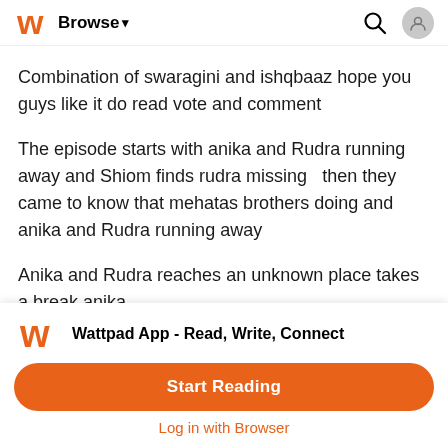Browse
Combination of swaragini and ishqbaaz hope you guys like it do read vote and comment
The episode starts with anika and Rudra running away and Shiom finds rudra missing  then they came to know that mehatas brothers doing and anika and Rudra running away
Anika and Rudra reaches an unknown place takes a break anika
[Figure (screenshot): Wattpad app bottom banner with logo, 'Wattpad App - Read, Write, Connect' text, Start Reading button, and Log in with Browser link]